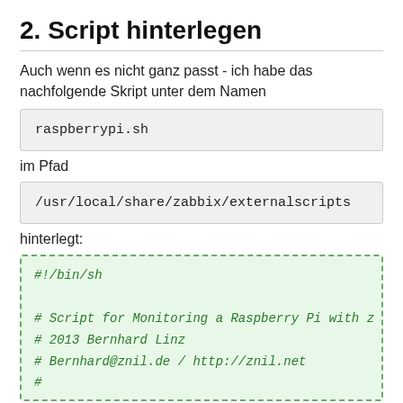2. Script hinterlegen
Auch wenn es nicht ganz passt - ich habe das nachfolgende Skript unter dem Namen
raspberrypi.sh
im Pfad
/usr/local/share/zabbix/externalscripts
hinterlegt:
[Figure (screenshot): Code block with green background and dashed border showing shell script beginning: #!/bin/sh, # Script for Monitoring a Raspberry Pi with z, # 2013 Bernhard Linz, # Bernhard@znil.de / http://znil.net, #]